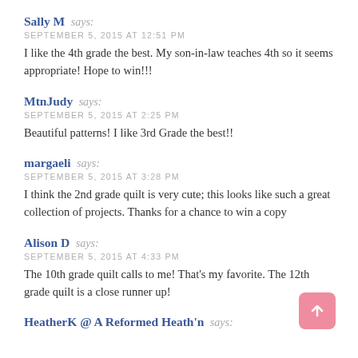Sally M says: SEPTEMBER 5, 2015 AT 12:51 PM
I like the 4th grade the best. My son-in-law teaches 4th so it seems appropriate! Hope to win!!!
MtnJudy says: SEPTEMBER 5, 2015 AT 2:25 PM
Beautiful patterns! I like 3rd Grade the best!!
margaeli says: SEPTEMBER 5, 2015 AT 3:28 PM
I think the 2nd grade quilt is very cute; this looks like such a great collection of projects. Thanks for a chance to win a copy
Alison D says: SEPTEMBER 5, 2015 AT 4:33 PM
The 10th grade quilt calls to me! That's my favorite. The 12th grade quilt is a close runner up!
HeatherK @ A Reformed Heath'n says: